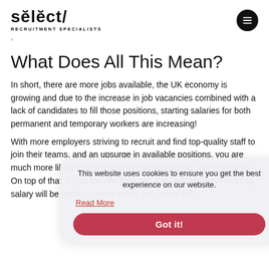select/ RECRUITMENT SPECIALISTS
›
What Does All This Mean?
In short, there are more jobs available, the UK economy is growing and due to the increase in job vacancies combined with a lack of candidates to fill those positions, starting salaries for both permanent and temporary workers are increasing!
With more employers striving to recruit and find top-quality staff to join their teams, and an upsurge in available positions, you are much more likely to find a new role by registering with a recruiter. On top of that, if you are offered a job, it is likely that your starting salary will be higher or more easily bargained for!
This website uses cookies to ensure you get the best experience on our website. Read More Got it!